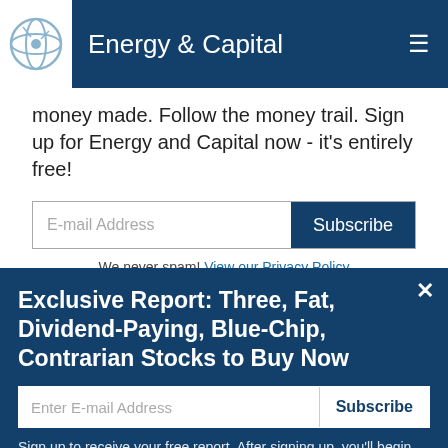Energy & Capital
money made. Follow the money trail. Sign up for Energy and Capital now - it's entirely free!
We never spam! View our Privacy Policy
After getting your report, you'll begin receiving the Energy and Capital letter delivered to you rich
Exclusive Report: Three, Fat, Dividend-Paying, Blue-Chip, Contrarian Stocks to Buy Now
Sign up to receive your free report. After signing up, you'll begin receiving the Energy and Capital e-letter daily.